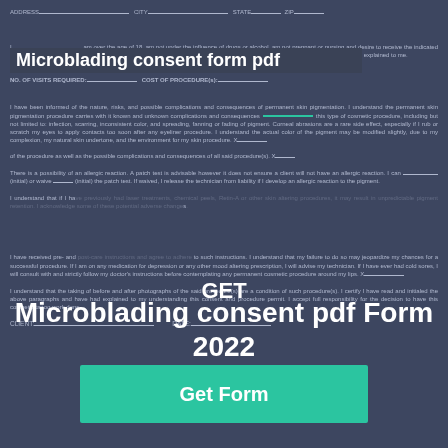ADDRESS___________________ CITY__________________ STATE______ ZIP________
Microblading consent form pdf
I__________________ am over the age of 18, am not under the influence of drugs or alcohol, am not pregnant or nursing and desire to receive the indicated permanent cosmetic procedure. The general nature of cosmetic tattooing as well as the specific procedure to be performed has been explained to me.
PROCEDURE(s):______________________________________
NO. OF VISITS REQUIRED:____________ COST OF PROCEDURE(s):____________
GET
I have been informed of the nature, risks, and possible complications and consequences of permanent skin pigmentation. I understand the permanent skin pigmentation procedure carries with it known and unknown complications and consequences [teal underline] this type of cosmetic procedure, including but not limited to: infection, scarring, inconsistent color, and spreading, fanning or fading of pigments. Corneal abrasions are a rare side effect, especially if I rub or scratch my eyes to apply contacts too soon after any eyeliner procedure. I understand the actual color of the pigment may be modified slightly, due to my complexion, my natural skin undertone, and the environment for my skin procedure. X_____
Microblading consent pdf Form 2022
of the procedure as well as the possible complications and consequences of all said procedure(s). X____
There is a possibility of an allergic reaction. A patch test is advisable however it does not ensure a client will not have an allergic reaction. I can _______ (initial) or waive _____ (initial) the patch test. If waived, I release the technician from liability if I develop an allergic reaction to the pigment.
I understand that if I have previously had laser treatments, chemical peels, Retin-A or other skin altering procedures, it may result in unpredictable pigment retention. I acknowledge some of these potential adverse changes.
Get Form
I have received pre- and post-care instructions and agree to adhere to such instructions. I understand that my failure to do so may jeopardize my chances for a successful procedure. If I am on any medication for depression or any other mood altering prescription, I will advise my technician. If I have ever had cold sores, I will consult with and strictly follow my doctor's instructions before contemplating any permanent cosmetic procedure around my lips. X__________
I understand that the taking of before and after photographs of the said procedure(s) are a condition of such procedure(s). I certify I have read and initialed the above paragraphs and have had explained to my understanding this consent and procedure permit. I accept full responsibility for the decision to have this cosmetic tattoo work done.
CLIENT:___________________________ DATE:_______________